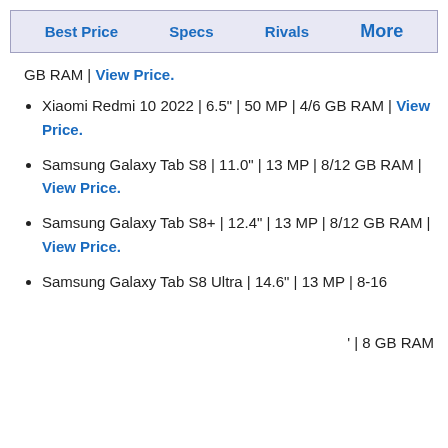Best Price   Specs   Rivals   More
GB RAM | View Price.
Xiaomi Redmi 10 2022 | 6.5" | 50 MP | 4/6 GB RAM | View Price.
Samsung Galaxy Tab S8 | 11.0" | 13 MP | 8/12 GB RAM | View Price.
Samsung Galaxy Tab S8+ | 12.4" | 13 MP | 8/12 GB RAM | View Price.
Samsung Galaxy Tab S8 Ultra | 14.6" | 13 MP | 8-16
' | 8 GB RAM